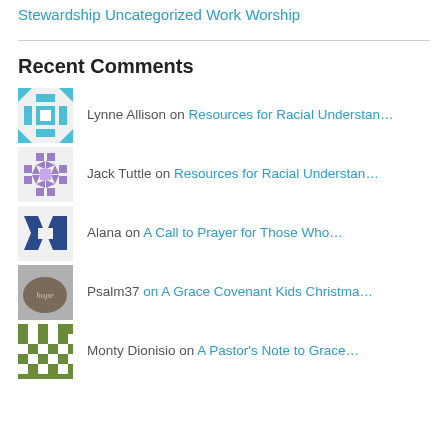Stewardship
Uncategorized
Work
Worship
Recent Comments
Lynne Allison on Resources for Racial Understan…
Jack Tuttle on Resources for Racial Understan…
Alana on A Call to Prayer for Those Who…
Psalm37 on A Grace Covenant Kids Christma…
Monty Dionisio on A Pastor's Note to Grace…